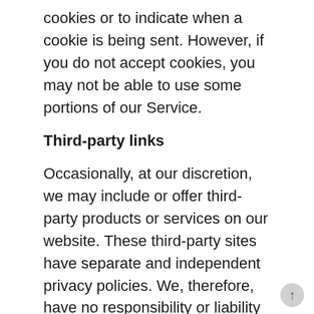cookies or to indicate when a cookie is being sent. However, if you do not accept cookies, you may not be able to use some portions of our Service.
Third-party links
Occasionally, at our discretion, we may include or offer third-party products or services on our website. These third-party sites have separate and independent privacy policies. We, therefore, have no responsibility or liability for the content and activities of these linked sites. Nonetheless, we seek to protect the integrity of our site and welcome any feedback about these sites.